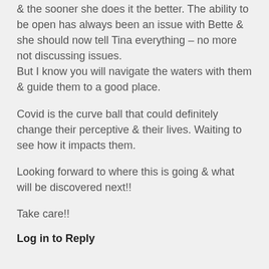& the sooner she does it the better. The ability to be open has always been an issue with Bette & she should now tell Tina everything – no more not discussing issues.
But I know you will navigate the waters with them & guide them to a good place.
Covid is the curve ball that could definitely change their perceptive & their lives. Waiting to see how it impacts them.
Looking forward to where this is going & what will be discovered next!!
Take care!!
Log in to Reply